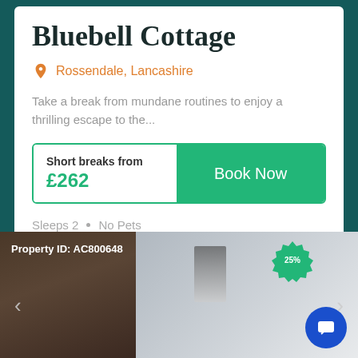Bluebell Cottage
Rossendale, Lancashire
Take a break from mundane routines to enjoy a thrilling escape to the...
Short breaks from £262
Book Now
Sleeps 2 · No Pets
[Figure (photo): Property listing photo showing stone wall exterior on left and modern kitchen interior on right, with Property ID: AC800648 overlay and 25% badge]
Property ID: AC800648